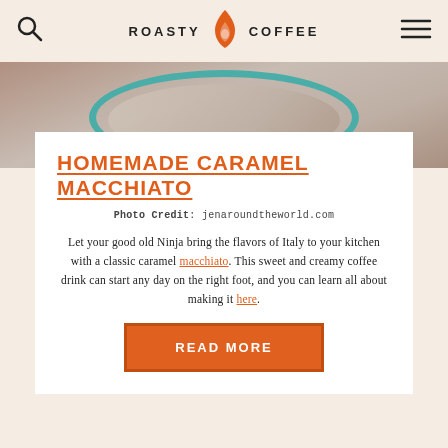ROASTY COFFEE
[Figure (photo): Top-down photo of a caramel macchiato drink in a teal/blue bowl, viewed from above, on a counter surface]
HOMEMADE CARAMEL MACCHIATO
Photo Credit: jenaroundtheworld.com
Let your good old Ninja bring the flavors of Italy to your kitchen with a classic caramel macchiato. This sweet and creamy coffee drink can start any day on the right foot, and you can learn all about making it here.
READ MORE